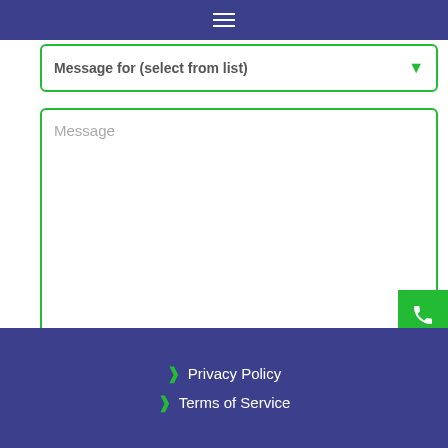Navigation menu (hamburger icon)
Message for (select from list)
Message
Submit Form
Privacy Policy | Terms of Service